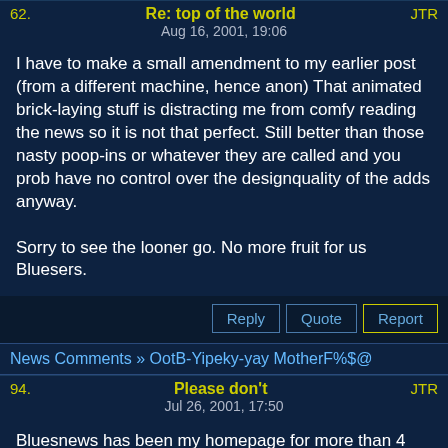62.  Re: top of the world  JTR
Aug 16, 2001, 19:06
I have to make a small amendment to my earlier post (from a different machine, hence anon) That animated brick-laying stuff is distracting me from comfy reading the news so it is not that perfect. Still better than those nasty poop-ins or whatever they are called and you prob have no control over the designquality of the adds anyway.

Sorry to see the looner go. No more fruit for us Bluesers.
Reply  Quote  Report
News Comments » OotB-Yipeky-yay MotherF%$@
94.  Please don't  JTR
Jul 26, 2001, 17:50
Bluesnews has been my homepage for more than 4 years, please keep it that way and remove those pop-up thingies. I understand u need some